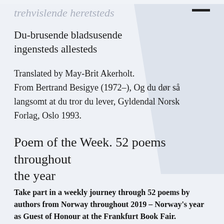trehvislende heretsteds
Du-brusende bladsusende
ingensteds allesteds
Translated by May-Brit Akerholt.
From Bertrand Besigye (1972–), Og du dør så langsomt at du tror du lever, Gyldendal Norsk Forlag, Oslo 1993.
Poem of the Week. 52 poems throughout the year
Take part in a weekly journey through 52 poems by authors from Norway throughout 2019 – Norway's year as Guest of Honour at the Frankfurt Book Fair.
From the time when the earliest texts were recorded in runic inscriptions, poetry has had a strong position in Norway. By introducing a new poem each week throughout